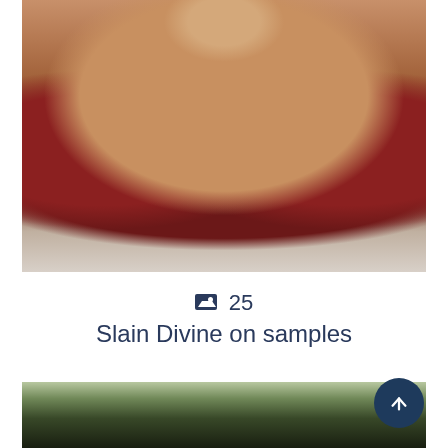[Figure (photo): Close-up photo of a person wearing white lace stockings, lying on red patterned fabric/bedding]
25
Slain Divine on samples
[Figure (photo): Partial photo of a dark-haired person outdoors with trees in background]
[Figure (other): Circular scroll-to-top navigation button with upward arrow, dark navy blue]